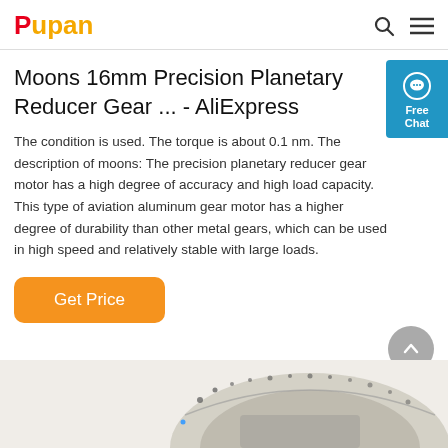Pupan [search icon] [menu icon]
Moons 16mm Precision Planetary Reducer Gear ... - AliExpress
The condition is used. The torque is about 0.1 nm. The description of moons: The precision planetary reducer gear motor has a high degree of accuracy and high load capacity. This type of aviation aluminum gear motor has a higher degree of durability than other metal gears, which can be used in high speed and relatively stable with large loads.
[Figure (other): Orange 'Get Price' button]
[Figure (photo): Partial product image of a precision planetary reducer gear motor at the bottom of the page]